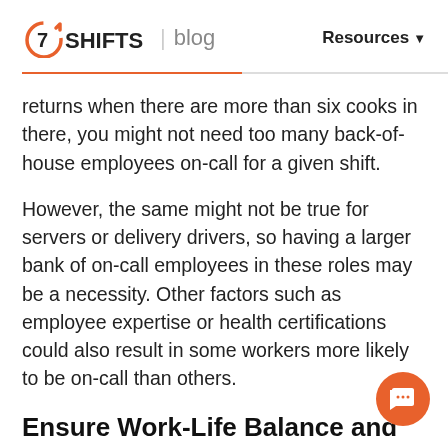7SHIFTS | blog   Resources
returns when there are more than six cooks in there, you might not need too many back-of-house employees on-call for a given shift.
However, the same might not be true for servers or delivery drivers, so having a larger bank of on-call employees in these roles may be a necessity. Other factors such as employee expertise or health certifications could also result in some workers more likely to be on-call than others.
Ensure Work-Life Balance and